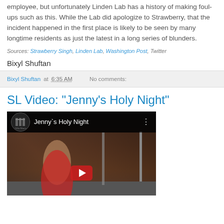employee, but unfortunately Linden Lab has a history of making foul-ups such as this. While the Lab did apologize to Strawberry, that the incident happened in the first place is likely to be seen by many longtime residents as just the latest in a long series of blunders.
Sources: Strawberry Singh, Linden Lab, Washington Post, Twitter
Bixyl Shuftan
Bixyl Shuftan at 6:35 AM   No comments:
SL Video: "Jenny's Holy Night"
[Figure (screenshot): Video thumbnail showing Jenny's Holy Night with a person standing on a street, with the video title bar at top showing logo, title text 'Jenny's Holy Night', and a play button overlay]